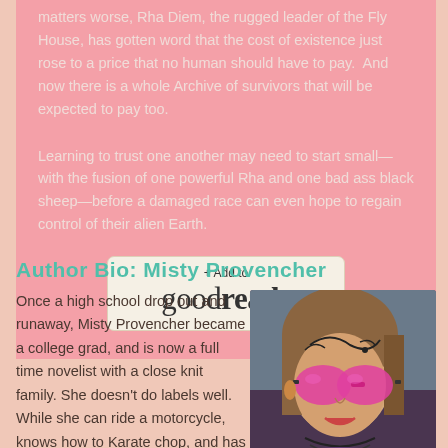matters worse, Rha Diem, the rugged leader of the Fly House, has gotten word that the cost of existence just rose to a price that no human should have to pay.  And now there is a whole Archive of survivors that will be expected to pay too.
Learning to trust one another may need to start small—with the fusion of one powerful Rha and one bad ass black sheep—before a damaged race can even hope to regain control of their alien Earth.
[Figure (other): Goodreads 'Add to goodreads' button with beige/cream background and rounded corners]
Author Bio: Misty Provencher
Once a high school drop out and runaway, Misty Provencher became a college grad, and is now a full time novelist with a close knit family. She doesn't do labels well. While she can ride a motorcycle, knows how to Karate chop, and has
[Figure (photo): Author photo of Misty Provencher wearing large pink/magenta sunglasses with decorative face painting, necklaces, and colorful clothing]